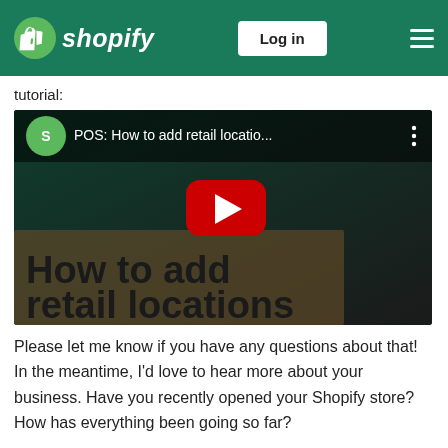Shopify — Log in
tutorial:
[Figure (screenshot): YouTube video thumbnail embedded in Shopify page. Title bar reads 'POS: How to add retail locatio...' with Shopify logo icon. The thumbnail shows text 'How to add retail locations' on a dark green background with a red YouTube play button in the center.]
Please let me know if you have any questions about that! In the meantime, I'd love to hear more about your business. Have you recently opened your Shopify store? How has everything been going so far?